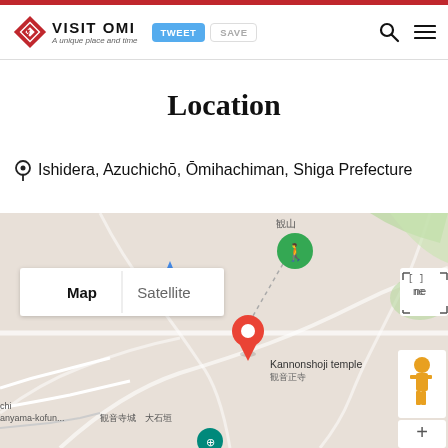VISIT OMI – A unique place and time
Location
Ishidera, Azuchichō, Ōmihachiman, Shiga Prefecture
[Figure (map): Google Maps showing location of Kannonshoji temple (観音正寺) in Ishidera, Azuchichō, Ōmihachiman, Shiga Prefecture. Map shows a red location pin on the temple, a green hiker icon nearby, Map/Satellite toggle buttons, and a street-view person icon. Labels include 観山, Kannonshoji temple, 観音正寺, 親音城, 大石垣, 観音寺城, and partial text chi, anyama-kofun.]